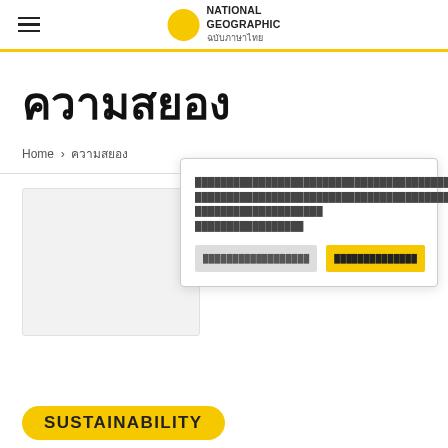National Geographic ฉบับภาษาไทย
ความสยอง
Home › ความสยอง
[Figure (other): Empty image placeholder card with light gray background]
Thai text cookie/privacy notice with underlined link
Button: ปฏิเสธคุกกี้ทั้งหมด | Button: ยอมรับทั้งหมด
SUSTAINABILITY